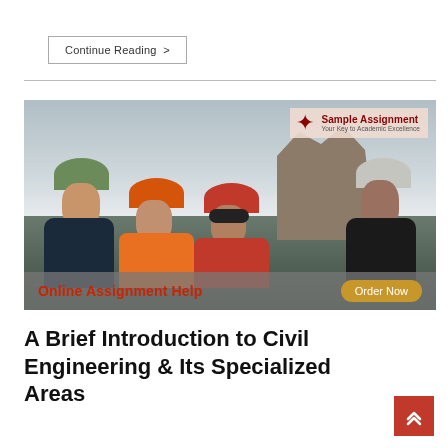Continue Reading >
[Figure (photo): Three rescue workers wearing helmets (green, orange, red) and one person in dark clothing huddle together, likely reviewing documents, with a damaged building in the background. Overlay shows 'Sample Assignment – Your Key to Academic Excellence' logo in top right, and a bottom bar with 'Online Assignment Help' and 'Order Now' button.]
A Brief Introduction to Civil Engineering & Its Specialized Areas